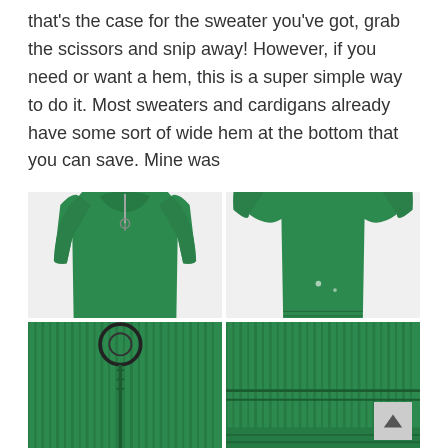that's the case for the sweater you've got, grab the scissors and snip away! However, if you need or want a hem, this is a super simple way to do it. Most sweaters and cardigans already have some sort of wide hem at the bottom that you can save. Mine was
[Figure (photo): Four photos of a green knit sweater/cardigan: top-left shows front view on white background with zipper, top-right shows the sweater laid flat showing top and cut hem pieces, bottom-left is a close-up of the zipper pull area, bottom-right is a close-up of the ribbed hem area.]